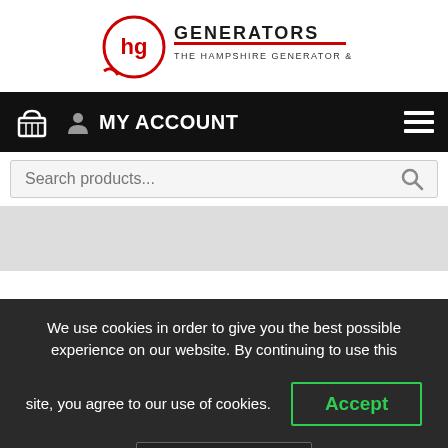[Figure (logo): Hampshire Generators logo — circular emblem with 'hg' letters in red and black, text 'GENERATORS' and 'THE HAMPSHIRE GENERATOR & UPS CO']
MY ACCOUNT
Search products...
We use cookies in order to give you the best possible experience on our website. By continuing to use this site, you agree to our use of cookies.
Accept
Reject